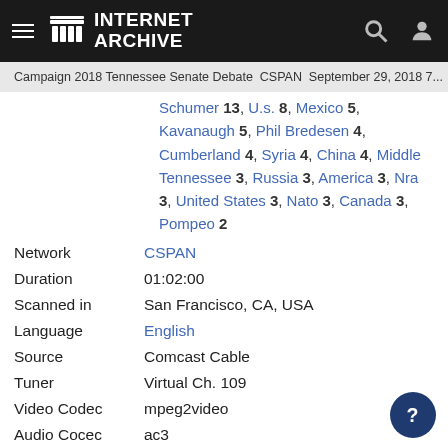Internet Archive
Campaign 2018 Tennessee Senate Debate  CSPAN  September 29, 2018 7...
Schumer 13, U.s. 8, Mexico 5, Kavanaugh 5, Phil Bredesen 4, Cumberland 4, Syria 4, China 4, Middle Tennessee 3, Russia 3, America 3, Nra 3, United States 3, Nato 3, Canada 3, Pompeo 2
| Field | Value |
| --- | --- |
| Network | CSPAN |
| Duration | 01:02:00 |
| Scanned in | San Francisco, CA, USA |
| Language | English |
| Source | Comcast Cable |
| Tuner | Virtual Ch. 109 |
| Video Codec | mpeg2video |
| Audio Cocec | ac3 |
| Pixel width | 704 |
| Pixel height | 480 |
| Sponsor | Internet Archive |